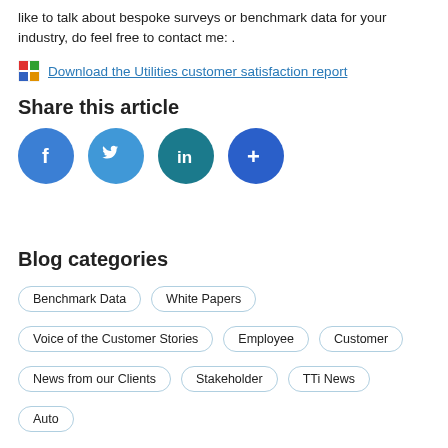like to talk about bespoke surveys or benchmark data for your industry, do feel free to contact me: .
Download the Utilities customer satisfaction report
Share this article
[Figure (other): Social share buttons: Facebook, Twitter, LinkedIn, More (+)]
Blog categories
Benchmark Data
White Papers
Voice of the Customer Stories
Employee
Customer
News from our Clients
Stakeholder
TTi News
Auto